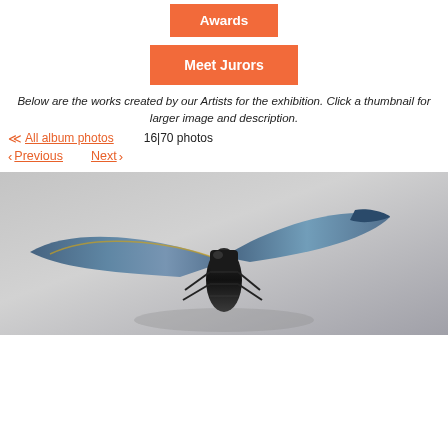Awards
Meet Jurors
Below are the works created by our Artists for the exhibition. Click a thumbnail for larger image and description.
« All album photos    16|70 photos
< Previous   Next >
[Figure (photo): A ceramic or glazed sculpture of an insect (possibly a beetle or dragonfly) with dark shiny body and blue-tinted wings, photographed against a grey background.]